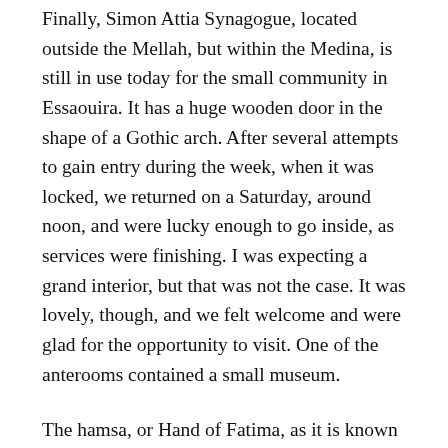Finally, Simon Attia Synagogue, located outside the Mellah, but within the Medina, is still in use today for the small community in Essaouira. It has a huge wooden door in the shape of a Gothic arch. After several attempts to gain entry during the week, when it was locked, we returned on a Saturday, around noon, and were lucky enough to go inside, as services were finishing. I was expecting a grand interior, but that was not the case. It was lovely, though, and we felt welcome and were glad for the opportunity to visit. One of the anterooms contained a small museum.
The hamsa, or Hand of Fatima, as it is known in Muslim countries, is everywhere in Morocco. One off-the-beaten-track place I would have loved to visit, about 28 kilometres from Fez, is the town of Sefrou, once inhabited by Spanish exiles and Jews from southern Algeria.